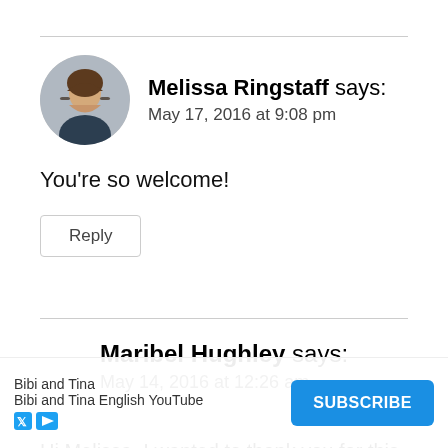[Figure (photo): Circular avatar photo of Melissa Ringstaff, a woman with glasses and brown hair]
Melissa Ringstaff says:
May 17, 2016 at 9:08 pm
You're so welcome!
Reply
Maribel Hughley says:
May 14, 2016 at 12:26 am
Hi Melissa, I wanted to thank you for this post because...at
[Figure (screenshot): Advertisement banner: Bibi and Tina - Bibi and Tina English YouTube, with a Subscribe button]